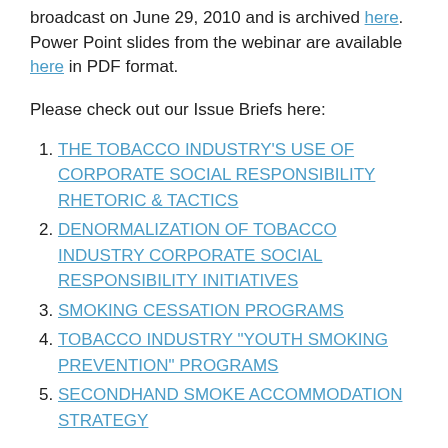broadcast on June 29, 2010 and is archived here. Power Point slides from the webinar are available here in PDF format.
Please check out our Issue Briefs here:
THE TOBACCO INDUSTRY’S USE OF CORPORATE SOCIAL RESPONSIBILITY RHETORIC & TACTICS
DENORMALIZATION OF TOBACCO INDUSTRY CORPORATE SOCIAL RESPONSIBILITY INITIATIVES
SMOKING CESSATION PROGRAMS
TOBACCO INDUSTRY “YOUTH SMOKING PREVENTION” PROGRAMS
SECONDHAND SMOKE ACCOMMODATION STRATEGY
Topics covered by the webinar and issue briefs include:
How the tobacco industry has strategically used corporate social responsibility rhetoric and tactics to normalize and improve its image and stave off further